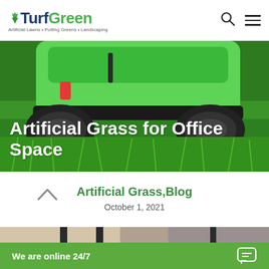Turf Green — Artificial Lawns • Putting Greens • Landscaping
[Figure (photo): Close-up photo of a green lawn mower on artificial grass, used as hero image for 'Artificial Grass for Office Space' blog post]
Artificial Grass for Office Space
Artificial Grass,Blog
October 1, 2021
[Figure (photo): Partial view of an office interior with a dark-framed window or door]
We are online 24/7